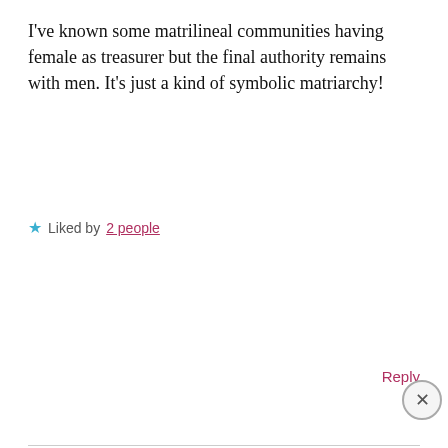I've known some matrilineal communities having female as treasurer but the final authority remains with men. It's just a kind of symbolic matriarchy!
★ Liked by 2 people
Reply
AnuBiio
Privacy & Cookies: This site uses cookies. By continuing to use this website, you agree to their use. To find out more, including how to control cookies, see here: Cookie Policy
Close and accept